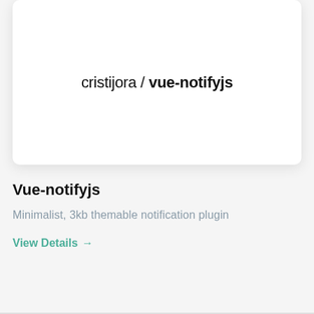[Figure (screenshot): Card UI element showing repository path: cristijora / vue-notifyjs]
Vue-notifyjs
Minimalist, 3kb themable notification plugin
View Details →